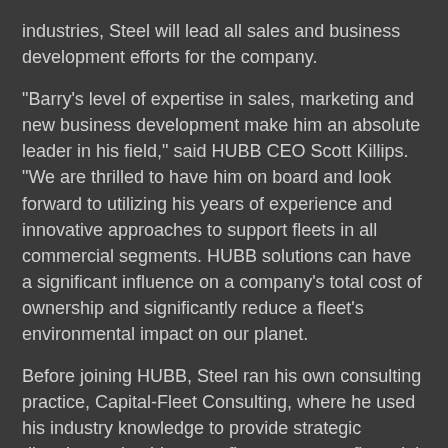industries, Steel will lead all sales and business development efforts for the company.
"Barry's level of expertise in sales, marketing and new business development make him an absolute leader in his field," said HUBB CEO Scott Killips. "We are thrilled to have him on board and look forward to utilizing his years of experience and innovative approaches to support fleets in all commercial segments. HUBB solutions can have a significant influence on a company's total cost of ownership and significantly reduce a fleet's environmental impact on our planet.
Before joining HUBB, Steel ran his own consulting practice, Capital-Fleet Consulting, where he used his industry knowledge to provide strategic direction and guidance to fleet operators, financial institutions, auto dealers and OEMs. Steel has also held leadership positions with Donlen Corporation, GE Capital Fleet Services, and Enterprise Leasing. "I am excited to be a part of a great team at HUBB," said Steel. "The HUBB solutions are a perfect...